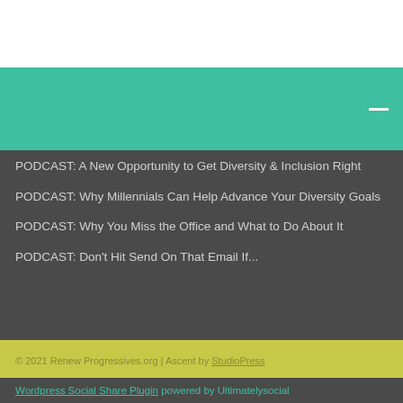[Figure (other): Teal/green colored navigation or menu bar with a white minus/collapse icon on the right side]
PODCAST: A New Opportunity to Get Diversity & Inclusion Right
PODCAST: Why Millennials Can Help Advance Your Diversity Goals
PODCAST: Why You Miss the Office and What to Do About It
PODCAST: Don't Hit Send On That Email If...
© 2021 Renew Progressives.org | Ascent by StudioPress
Wordpress Social Share Plugin powered by Ultimatelysocial